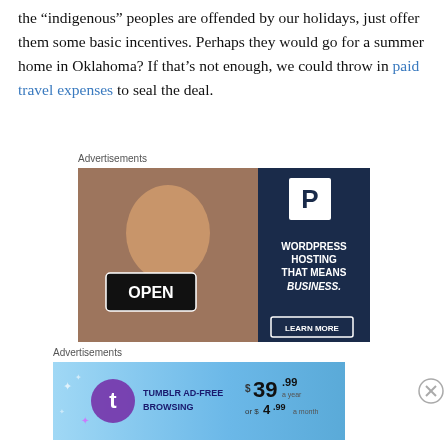the "indigenous" peoples are offended by our holidays, just offer them some basic incentives. Perhaps they would go for a summer home in Oklahoma? If that's not enough, we could throw in paid travel expenses to seal the deal.
Advertisements
[Figure (photo): WordPress Hosting advertisement showing a smiling woman holding an OPEN sign, with dark navy background and text: WORDPRESS HOSTING THAT MEANS BUSINESS. LEARN MORE]
Advertisements
[Figure (photo): Tumblr Ad-Free Browsing advertisement: $39.99 a year or $4.99 a month]